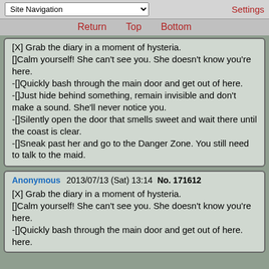Site Navigation | Settings
Return  Top  Bottom
[X] Grab the diary in a moment of hysteria.
[]Calm yourself! She can't see you. She doesn't know you're here.
-[]Quickly bash through the main door and get out of here.
-[]Just hide behind something, remain invisible and don't make a sound. She'll never notice you.
-[]Silently open the door that smells sweet and wait there until the coast is clear.
-[]Sneak past her and go to the Danger Zone. You still need to talk to the maid.
Anonymous 2013/07/13 (Sat) 13:14 No. 171612
[X] Grab the diary in a moment of hysteria.
[]Calm yourself! She can't see you. She doesn't know you're here.
-[]Quickly bash through the main door and get out of here.